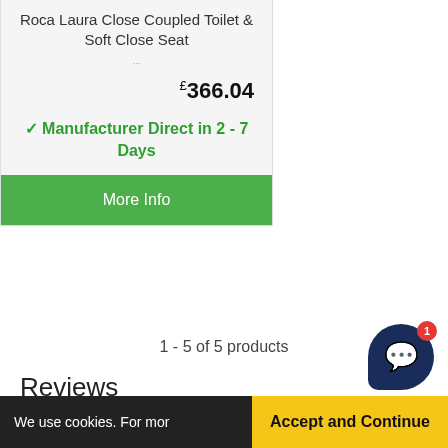[Figure (photo): Product image placeholder for Roca Laura Close Coupled Toilet & Soft Close Seat]
Roca Laura Close Coupled Toilet & Soft Close Seat
£366.04
✓ Manufacturer Direct in 2 - 7 Days
More Info
1 - 5 of 5 products
Reviews
[Figure (photo): Review product thumbnail showing bathroom product]
★★★★
We use cookies. For mor   Accept and Continue